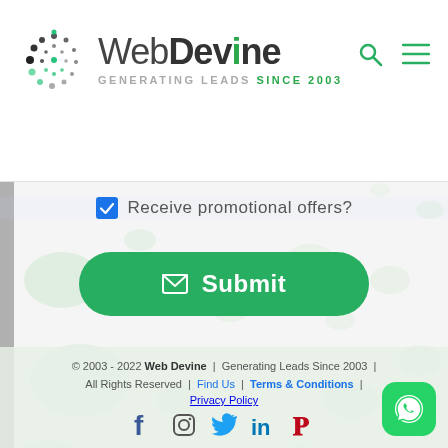[Figure (logo): WebDevine logo with spiral dot icon and tagline 'GENERATING LEADS SINCE 2003']
[Figure (other): Search and hamburger menu icons in top right header]
Receive promotional offers?
[Figure (other): Green rounded Submit button with envelope icon]
© 2003 - 2022 Web Devine | Generating Leads Since 2003 | All Rights Reserved | Find Us | Terms & Conditions | Privacy Policy
[Figure (other): Social media icons: Facebook, Instagram, Twitter, LinkedIn, Pinterest]
[Figure (other): WhatsApp floating button bottom right]